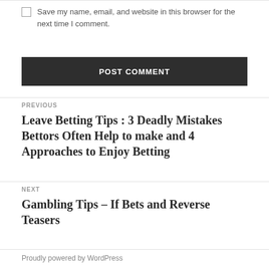Save my name, email, and website in this browser for the next time I comment.
POST COMMENT
PREVIOUS
Leave Betting Tips : 3 Deadly Mistakes Bettors Often Help to make and 4 Approaches to Enjoy Betting
NEXT
Gambling Tips – If Bets and Reverse Teasers
Proudly powered by WordPress